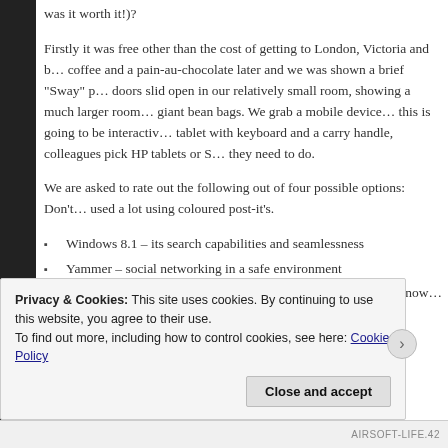was it worth it!)?
Firstly it was free other than the cost of getting to London, Victoria and b… coffee and a pain-au-chocolate later and we was shown a brief “Sway” p… doors slid open in our relatively small room, showing a much larger room… giant bean bags. We grab a mobile device… this is going to be interactiv… tablet with keyboard and a carry handle, colleagues pick HP tablets or S… they need to do.
We are asked to rate out the following out of four possible options: Don’t… used a lot using coloured post-it’s.
Windows 8.1 – its search capabilities and seamlessness
Yammer – social networking in a safe environment
Office 365 – buckloads, I even learnt about “Delve” (did you know… downloadable office’s?)
Privacy & Cookies: This site uses cookies. By continuing to use this website, you agree to their use.
To find out more, including how to control cookies, see here: Cookie Policy